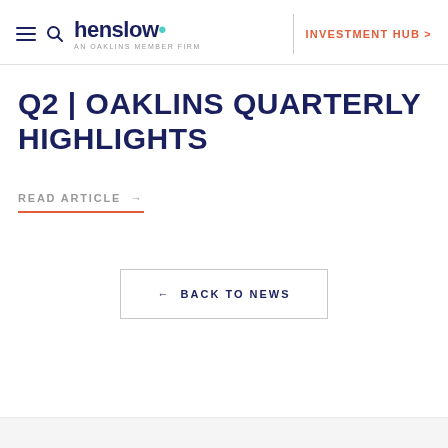henslow · AN OAKLINS MEMBER FIRM | INVESTMENT HUB >
Q2 | OAKLINS QUARTERLY HIGHLIGHTS
READ ARTICLE →
← BACK TO NEWS